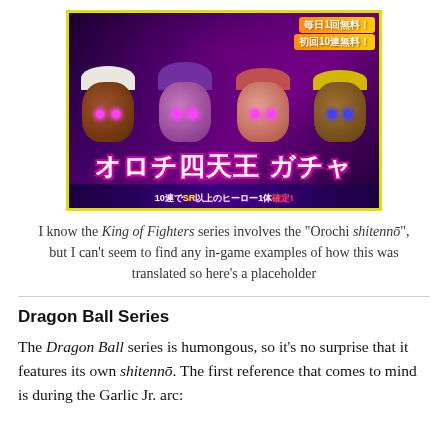[Figure (illustration): Japanese mobile game gacha banner featuring anime-style characters from King of Fighters with Japanese text reading 'Orochi Shitennō Gacha' and promotional text about free pulls]
I know the King of Fighters series involves the "Orochi shitennō", but I can't seem to find any in-game examples of how this was translated so here's a placeholder
Dragon Ball Series
The Dragon Ball series is humongous, so it's no surprise that it features its own shitennō. The first reference that comes to mind is during the Garlic Jr. arc: